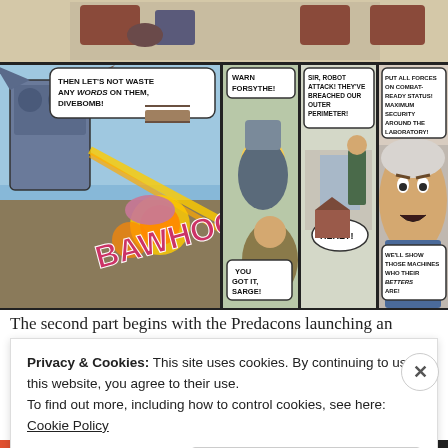[Figure (illustration): Comic book page panels showing Predacons launching an attack. Top strip shows vehicles/robots. Main panels show: a large robot firing a beam with 'BAWHOOM' sound effect and speech bubble 'THEN LET'S NOT WASTE ANY WORDS ON THEM, DIVEBOMB!'; a soldier panel with 'WARN FORSYTHE!'; a panel with 'SIR, ROBOT ATTACK! THEY'VE BREACHED OUR OUTER PERIMETER!' and 'HERE?!'; a panel of a stern man saying 'PUT ALL FORCES ON COMBAT-READY STATUS! MAXIMUM SECURITY AROUND THE LABORATORY!' and 'WE'LL SHOW THOSE MACHINES WHO THEIR BETTERS ARE!'; bottom left character says 'YOU GOT IT, SARGE!']
The second part begins with the Predacons launching an
Privacy & Cookies: This site uses cookies. By continuing to use this website, you agree to their use.
To find out more, including how to control cookies, see here: Cookie Policy
Close and accept